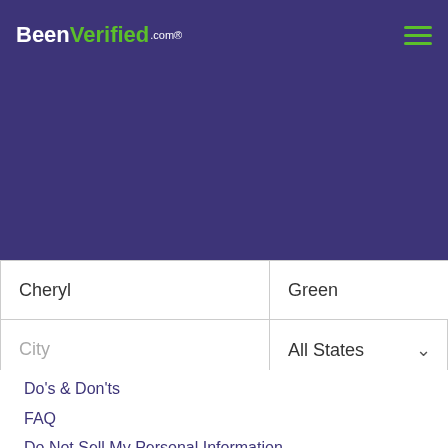BeenVerified.com
Cheryl Green Phone & Address Directory
[Figure (screenshot): Search form with fields: first name (Cheryl), last name (Green), City, All States dropdown, and SEARCH button]
Do's & Don'ts
FAQ
Do Not Sell My Personal Information